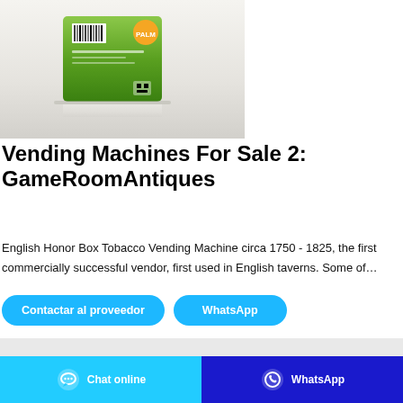[Figure (photo): Product image showing a green box/package with barcode and orange logo, displayed against a light gray/white gradient background with a reflection effect below.]
Vending Machines For Sale 2: GameRoomAntiques
English Honor Box Tobacco Vending Machine circa 1750 - 1825, the first commercially successful vendor, first used in English taverns. Some of…
Contactar al proveedor
WhatsApp
[Figure (photo): Dark blue/teal background image showing what appears to be mechanical or antique machinery parts in low-key lighting.]
Chat online
WhatsApp